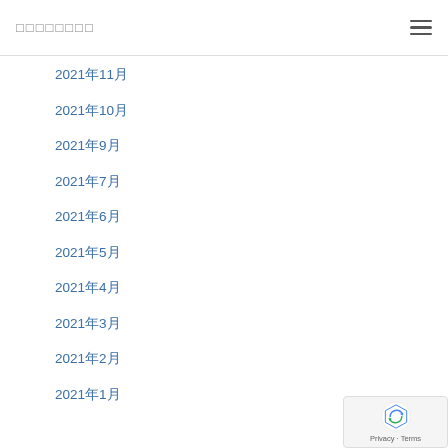□□□□□□□□
2021年11月
2021年10月
2021年9月
2021年7月
2021年6月
2021年5月
2021年4月
2021年3月
2021年2月
2021年1月